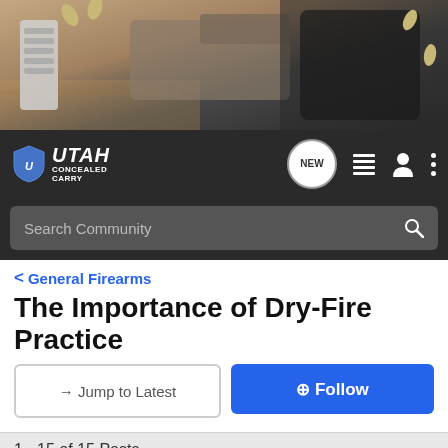[Figure (photo): Hero banner image showing firearm components including a gun magazine, pistol, holster, and bullets on a wooden surface]
[Figure (logo): Utah Concealed Carry forum logo with shield icon and navigation icons including NEW chat bubble, list icon, user icon, and three-dot menu]
Search Community
< General Firearms
The Importance of Dry-Fire Practice
→ Jump to Latest
+ Follow
1 - 15 of 15 Posts
Outsider · Registered
Joined Apr 6, 2008 · 507 Posts